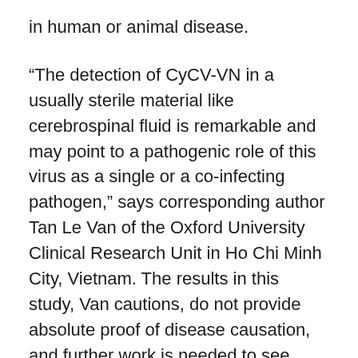in human or animal disease.
“The detection of CyCV-VN in a usually sterile material like cerebrospinal fluid is remarkable and may point to a pathogenic role of this virus as a single or a co-infecting pathogen,” says corresponding author Tan Le Van of the Oxford University Clinical Research Unit in Ho Chi Minh City, Vietnam. The results in this study, Van cautions, do not provide absolute proof of disease causation, and further work is needed to see whether the virus poses a threat to human and animal health.
Acute central nervous system infections are responsible for illness and death across and